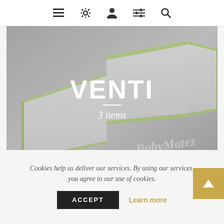Navigation bar with menu, settings, account, filter, and search icons
[Figure (photo): Folding baby mattress with green trim on a light gray background, shown from above at an angle. BabyMatez watermark visible in lower right.]
VENTI
3 items
Cookies help us deliver our services. By using our services, you agree to our use of cookies.
ACCEPT
Learn more